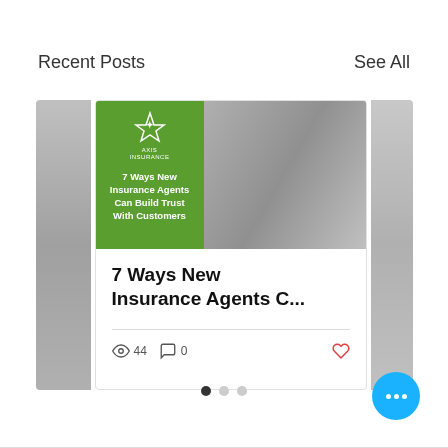Recent Posts
See All
[Figure (screenshot): Blog post card showing a handshake image with a green AXIS insurance company overlay panel containing the text '7 Ways New Insurance Agents Can Build Trust With Customers', accompanied by post title '7 Ways New Insurance Agents C...', view count 44, comment count 0, and a heart (like) button]
7 Ways New Insurance Agents C...
44
0